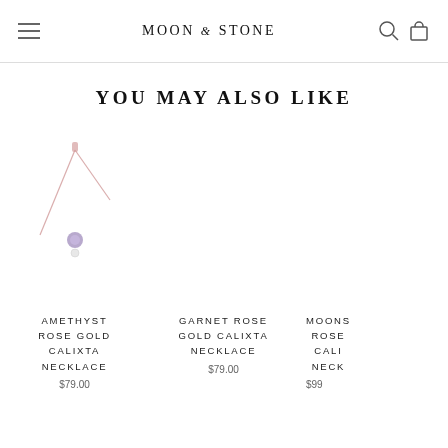MOON & STONE
YOU MAY ALSO LIKE
[Figure (illustration): Amethyst rose gold necklace product photo on white background]
AMETHYST ROSE GOLD CALIXTA NECKLACE
$79.00
[Figure (illustration): Garnet rose gold calixta necklace product photo (blank/empty white background)]
GARNET ROSE GOLD CALIXTA NECKLACE
$79.00
[Figure (illustration): Moonstone rose gold calixta necklace product photo (partially cropped)]
MOONS ROSE CALI NECK
$99